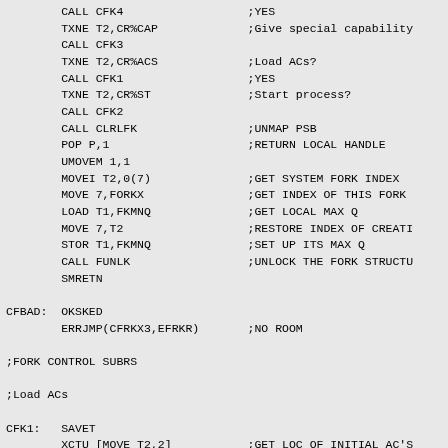CALL CFK4                  ;YES
        TXNE T2,CR%CAP             ;Give special capabilities
        CALL CFK3
        TXNE T2,CR%ACS             ;Load ACs?
        CALL CFK1                  ;YES
        TXNE T2,CR%ST              ;Start process?
        CALL CFK2
        CALL CLRLFK                ;UNMAP PSB
        POP P,1                    ;RETURN LOCAL HANDLE
        UMOVEM 1,1
        MOVEI T2,0(7)              ;GET SYSTEM FORK INDEX
        MOVE 7,FORKX               ;GET INDEX OF THIS FORK
        LOAD T1,FKMNQ              ;GET LOCAL MAX Q
        MOVE 7,T2                  ;RESTORE INDEX OF CREATING FORK
        STOR T1,FKMNQ              ;SET UP ITS MAX Q
        CALL FUNLK                 ;UNLOCK THE FORK STRUCTURE
        SMRETN

CFBAD:  OKSKED
        ERRJMP(CFRKX3,EFRKR)       ;NO ROOM

;FORK CONTROL SUBRS

;Load ACs

CFK1:   SAVET
        XCTU [MOVE T2,2]           ;GET LOC OF INITIAL AC'S
        XMOVEI T3,UAC(T1)          ;FIND ADDRESS OF SAVE AREA
        MOVEI T1,20                ;ALL ACS
        CALL BLTUM1                ;TRANSFER AC'S TO MONITOR